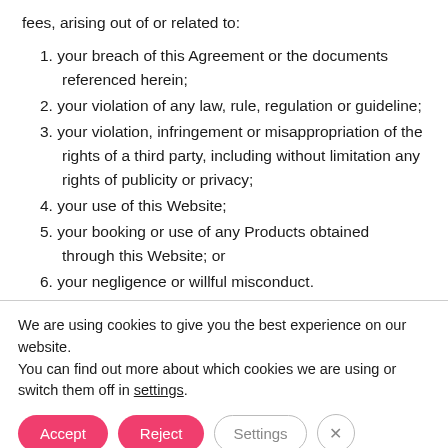fees, arising out of or related to:
1. your breach of this Agreement or the documents referenced herein;
2. your violation of any law, rule, regulation or guideline;
3. your violation, infringement or misappropriation of the rights of a third party, including without limitation any rights of publicity or privacy;
4. your use of this Website;
5. your booking or use of any Products obtained through this Website; or
6. your negligence or willful misconduct.
We are using cookies to give you the best experience on our website.
You can find out more about which cookies we are using or switch them off in settings.